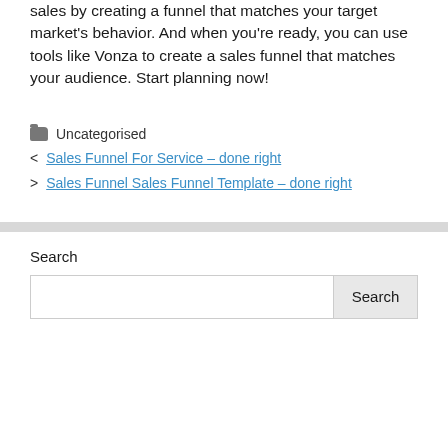sales by creating a funnel that matches your target market's behavior. And when you're ready, you can use tools like Vonza to create a sales funnel that matches your audience. Start planning now!
Uncategorised
< Sales Funnel For Service – done right
> Sales Funnel Sales Funnel Template – done right
Search